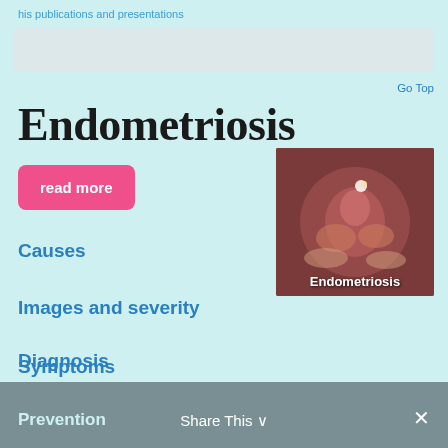his publications and presentations
Endometriosis
read more
[Figure (photo): Laparoscopic medical image of endometriosis tissue with label 'Endometriosis']
Causes
Images and severity
Symptoms
Diagnosis
Treatment : surgery or medication
Prevention   Share This ∨   ✕